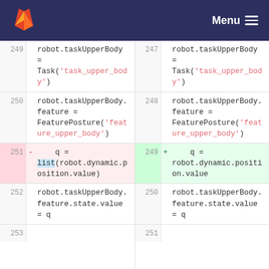GitLab — Menu
Left diff column lines 249-253, right diff column lines 247-251. Code diff showing changes to robot task upper body, feature posture, and dynamic position assignment.